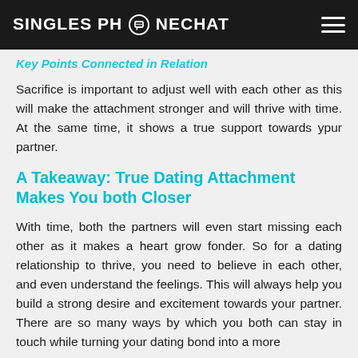SINGLES PHONECHAT
Key Points Connected in Relation
Sacrifice is important to adjust well with each other as this will make the attachment stronger and will thrive with time. At the same time, it shows a true support towards ypur partner.
A Takeaway: True Dating Attachment Makes You both Closer
With time, both the partners will even start missing each other as it makes a heart grow fonder. So for a dating relationship to thrive, you need to believe in each other, and even understand the feelings. This will always help you build a strong desire and excitement towards your partner. There are so many ways by which you both can stay in touch while turning your dating bond into a more thriving one.